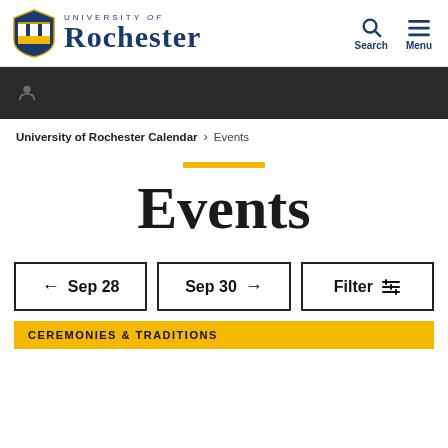[Figure (logo): University of Rochester shield logo and wordmark]
[Figure (screenshot): Dark navigation bar with user icon]
University of Rochester Calendar > Events
Events
← Sep 28   Sep 30 →   Filter ≡
CEREMONIES & TRADITIONS